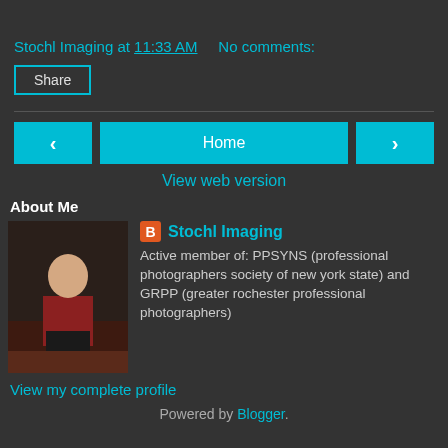Stochl Imaging at 11:33 AM    No comments:
Share
< | Home | >
View web version
About Me
[Figure (photo): Profile photo of a person standing indoors]
Stochl Imaging
Active member of: PPSYNS (professional photographers society of new york state) and GRPP (greater rochester professional photographers)
View my complete profile
Powered by Blogger.